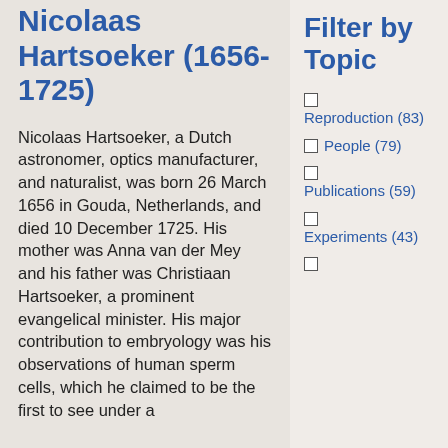Nicolaas Hartsoeker (1656-1725)
Nicolaas Hartsoeker, a Dutch astronomer, optics manufacturer, and naturalist, was born 26 March 1656 in Gouda, Netherlands, and died 10 December 1725. His mother was Anna van der Mey and his father was Christiaan Hartsoeker, a prominent evangelical minister. His major contribution to embryology was his observations of human sperm cells, which he claimed to be the first to see under a
Filter by Topic
Reproduction (83)
People (79)
Publications (59)
Experiments (43)